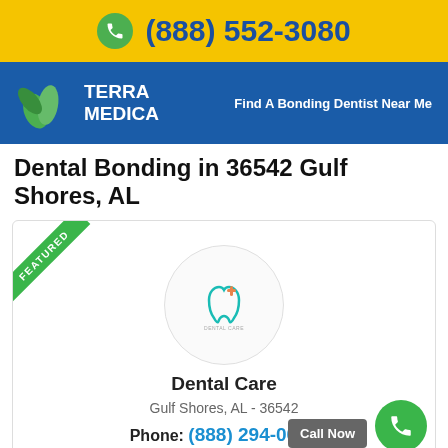(888) 552-3080
[Figure (logo): Terra Medica logo with green leaves icon and tagline 'Find A Bonding Dentist Near Me' on blue background]
Dental Bonding in 36542 Gulf Shores, AL
[Figure (other): Featured listing card for Dental Care with circular dental care logo icon, address Gulf Shores AL 36542, phone number (888) 294-0015, Call Now button and green phone FAB icon]